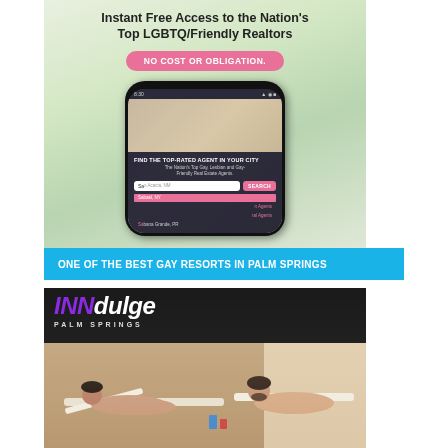[Figure (screenshot): Advertisement for a website/app showing 'Instant Free Access to the Nation's Top LGBTQ/Friendly Realtors' with a pink button 'NO COST OR OBLIGATION.' and a smartphone mockup showing a real estate agent search app with search results for 'Sa' showing Sabael NY and Sabana Grande PR]
ONE OF THE BEST GAY RESORTS IN PALM SPRINGS
[Figure (photo): INNdulge Palm Springs resort advertisement showing two men sunbathing with the resort logo in purple and white text]